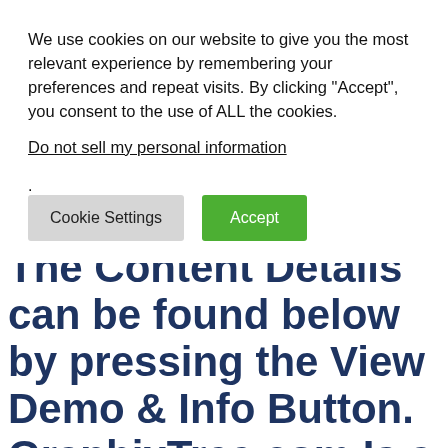We use cookies on our website to give you the most relevant experience by remembering your preferences and repeat visits. By clicking “Accept”, you consent to the use of ALL the cookies.
Do not sell my personal information.
Cookie Settings   Accept
The Content Details can be found below by pressing the View Demo & Info Button. GraphixTree.com Is a Free Graphics Content Provider Website Which Helps Beginner Graphic